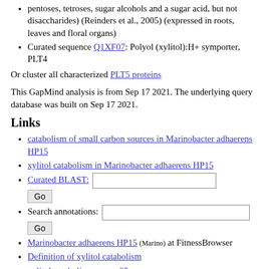pentoses, tetroses, sugar alcohols and a sugar acid, but not disaccharides) (Reinders et al., 2005) (expressed in roots, leaves and floral organs)
Curated sequence Q1XF07: Polyol (xylitol):H+ symporter, PLT4
Or cluster all characterized PLT5 proteins
This GapMind analysis is from Sep 17 2021. The underlying query database was built on Sep 17 2021.
Links
catabolism of small carbon sources in Marinobacter adhaerens HP15
xylitol catabolism in Marinobacter adhaerens HP15
Curated BLAST: [input] Go
Search annotations: [input] Go
Marinobacter adhaerens HP15 (Marino) at FitnessBrowser
Definition of xylitol catabolism
xylitol catabolism across 35 genomes
All 35 genomes and all pathways
GapMind for amino acid biosynthesis